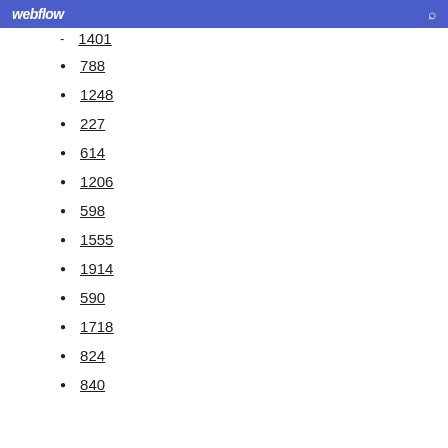webflow
1401
788
1248
227
614
1206
598
1555
1914
590
1718
824
840